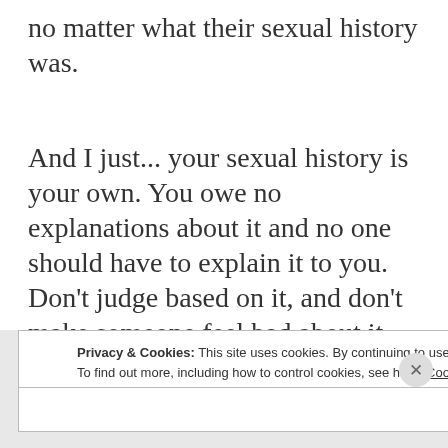no matter what their sexual history was.
And I just... your sexual history is your own. You owe no explanations about it and no one should have to explain it to you. Don't judge based on it, and don't make someone feel bad about it.
P
Privacy & Cookies: This site uses cookies. By continuing to use this website, you agree to their use.
To find out more, including how to control cookies, see here: Cookie Policy
Close and accept